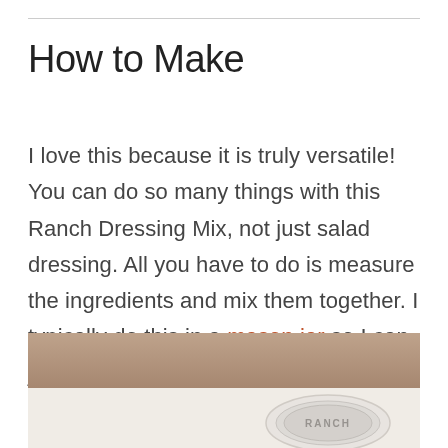How to Make
I love this because it is truly versatile!   You can do so many things with this Ranch Dressing Mix, not just salad dressing. All you have to do is measure the ingredients and mix them together. I typically do this in a mason jar so I can just shake it up to blend.
[Figure (photo): Photo of a mason jar lid with 'RANCH' text visible, on a light background with a tan/brown upper section]